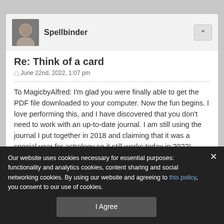[Figure (photo): User avatar image for Spellbinder, circular/rounded portrait photo]
Spellbinder
Re: Think of a card
June 22nd, 2022, 1:07 pm
To MagicbyAlfred: I'm glad you were finally able to get the PDF file downloaded to your computer. Now the fun begins. I love performing this, and I have discovered that you don't need to work with an up-to-date journal. I am still using the journal I put together in 2018 and claiming that it was a special year for astrology so it still works today in 2022!
Our website uses cookies necessary for essential purposes: functionality and analytics cookies, content sharing and social networking cookies. By using our website and agreeing to this policy, you consent to our use of cookies.
I Agree